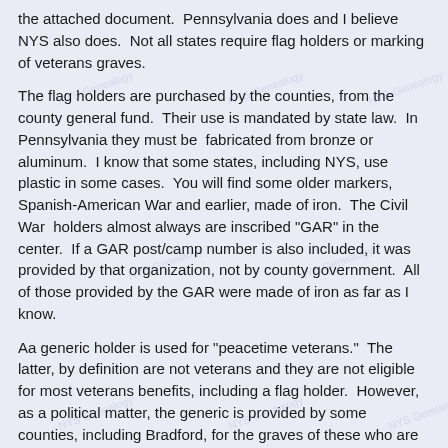the attached document.  Pennsylvania does and I believe NYS also does.  Not all states require flag holders or marking of veterans graves.
The flag holders are purchased by the counties, from the county general fund.  Their use is mandated by state law.  In Pennsylvania they must be  fabricated from bronze or aluminum.  I know that some states, including NYS, use plastic in some cases.  You will find some older markers, Spanish-American War and earlier, made of iron.  The Civil War  holders almost always are inscribed "GAR" in the center.  If a GAR post/camp number is also included, it was provided by that organization, not by county government.  All of those provided by the GAR were made of iron as far as I know.
Aa generic holder is used for "peacetime veterans."  The latter, by definition are not veterans and they are not eligible for most veterans benefits, including a flag holder.  However, as a political matter, the generic is provided by some counties, including Bradford, for the graves of these who are designated by Congress and the VA as "former members of the armed forces of the Untied States."  Not all counties in PA provided the generic "peacetime veteran" holder, probably because there is no provision in the law to expend public funds on them.